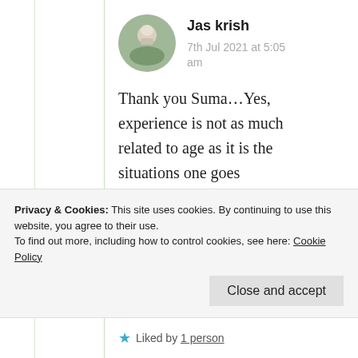Jas krish
7th Jul 2021 at 5:05 am
Thank you Suma…Yes, experience is not as much related to age as it is the situations one goes through in life. And yes, I
Privacy & Cookies: This site uses cookies. By continuing to use this website, you agree to their use.
To find out more, including how to control cookies, see here: Cookie Policy
Close and accept
Liked by 1 person